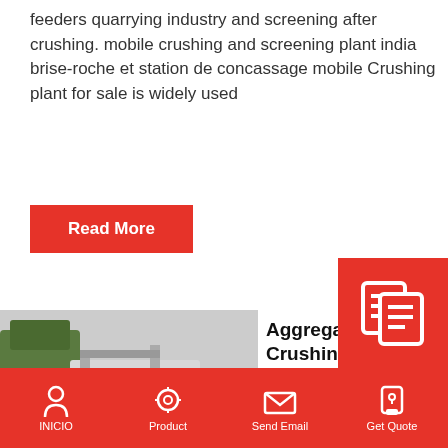feeders quarrying industry and screening after crushing. mobile crushing and screening plant india brise-roche et station de concassage mobile Crushing plant for sale is widely used
Read More
[Figure (photo): Mobile crushing machine / aggregate crushing equipment on a job site with tracks visible]
Aggregate Crushing Contract In India
Prompt :
Caes
famo
INICIO   Product   Send Email   Get Quote